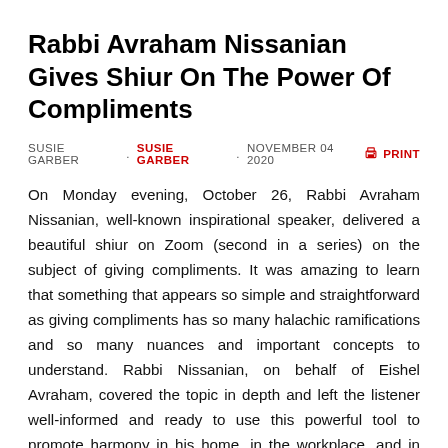Rabbi Avraham Nissanian Gives Shiur On The Power Of Compliments
SUSIE GARBER  .  SUSIE GARBER  .  NOVEMBER 04 2020  🖨 PRINT
On Monday evening, October 26, Rabbi Avraham Nissanian, well-known inspirational speaker, delivered a beautiful shiur on Zoom (second in a series) on the subject of giving compliments. It was amazing to learn that something that appears so simple and straightforward as giving compliments has so many halachic ramifications and so many nuances and important concepts to understand. Rabbi Nissanian, on behalf of Eishel Avraham, covered the topic in depth and left the listener well-informed and ready to use this powerful tool to promote harmony in his home, in the workplace, and in the world in general in the best way possible.
Rabbi Nissanian noted, "It looks so easy to compliment, but it is not so easy or light as we think. There is much more to it than..."